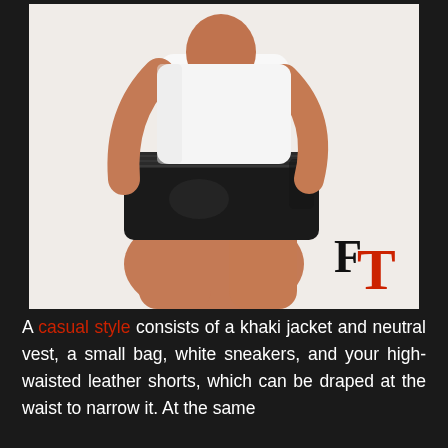[Figure (photo): A woman wearing black high-waisted leather shorts and a white top, posing with hands near hips. A decorative vertical black line is on the left side. A mauve/dusty rose color swatch is in the top right. An 'FT' logo (black F, red T) appears in the bottom right of the image.]
A casual style consists of a khaki jacket and neutral vest, a small bag, white sneakers, and your high-waisted leather shorts, which can be draped at the waist to narrow it. At the same